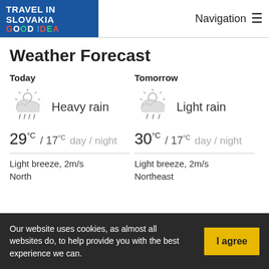TRAVEL IN SLOVAKIA GOOD IDEA | Navigation
Weather Forecast
Today
[Figure (illustration): Cloud with sun and rain icon for today]
Heavy rain
29°C / 17°C day / night
Light breeze, 2m/s
North
Tomorrow
[Figure (illustration): Cloud with sun and rain icon for tomorrow]
Light rain
30°C / 17°C day / night
Light breeze, 2m/s
Northeast
Our website uses cookies, as almost all websites do, to help provide you with the best experience we can.